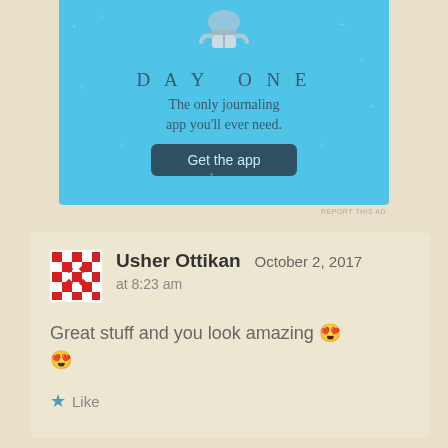[Figure (screenshot): Day One app advertisement banner with blue background, person illustration, 'DAY ONE' title, subtitle 'The only journaling app you'll ever need.' and a 'Get the app' button]
REPORT THIS AD
Usher Ottikan   October 2, 2017
at 8:23 am

Great stuff and you look amazing 😍😍

★ Like